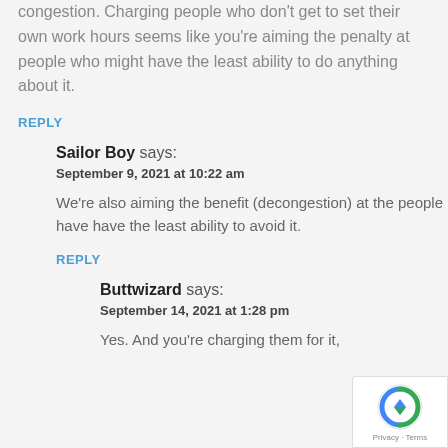congestion. Charging people who don't get to set their own work hours seems like you're aiming the penalty at people who might have the least ability to do anything about it.
REPLY
Sailor Boy says:
September 9, 2021 at 10:22 am
We're also aiming the benefit (decongestion) at the people have have the least ability to avoid it.
REPLY
Buttwizard says:
September 14, 2021 at 1:28 pm
Yes. And you're charging them for it,